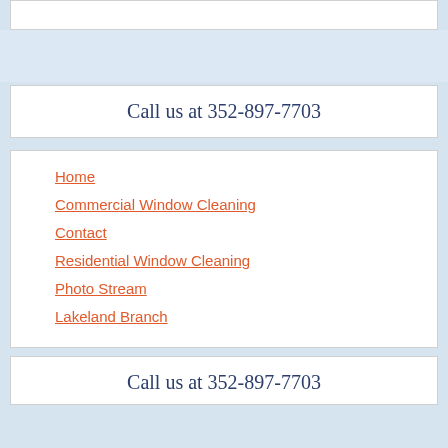Call us at 352-897-7703
Home
Commercial Window Cleaning
Contact
Residential Window Cleaning
Photo Stream
Lakeland Branch
Call us at 352-897-7703